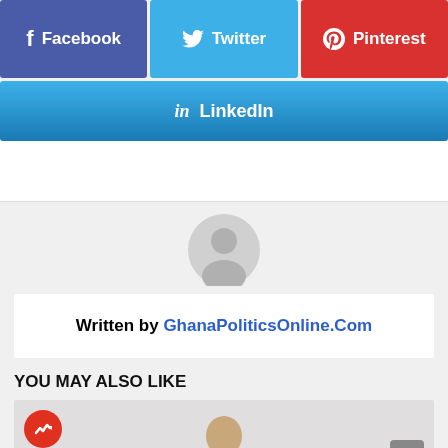[Figure (screenshot): Social share buttons: Facebook (purple), Twitter (blue), Pinterest (red), and LinkedIn (blue gradient) buttons]
Written by GhanaPoliticsOnline.Com
YOU MAY ALSO LIKE
[Figure (photo): Thumbnail image of a person with a red trending badge in the top-left corner]